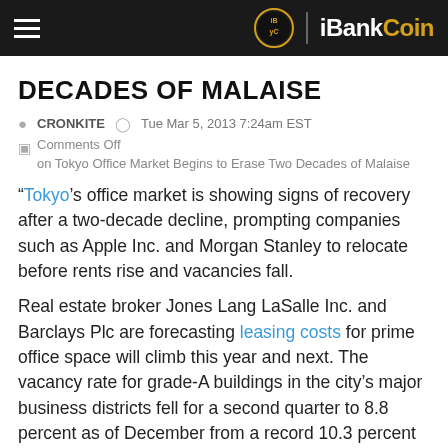iBankCoin
DECADES OF MALAISE
CRONKITE  Tue Mar 5, 2013 7:24am EST
Comments Off
on Tokyo Office Market Begins to Erase Two Decades of Malaise
“Tokyo’s office market is showing signs of recovery after a two-decade decline, prompting companies such as Apple Inc. and Morgan Stanley to relocate before rents rise and vacancies fall.
Real estate broker Jones Lang LaSalle Inc. and Barclays Plc are forecasting leasing costs for prime office space will climb this year and next. The vacancy rate for grade-A buildings in the city’s major business districts fell for a second quarter to 8.8 percent as of December from a record 10.3 percent in the three months to June, according to broker CBRE Group Inc.
“We are now seeing some very early signs of a return in